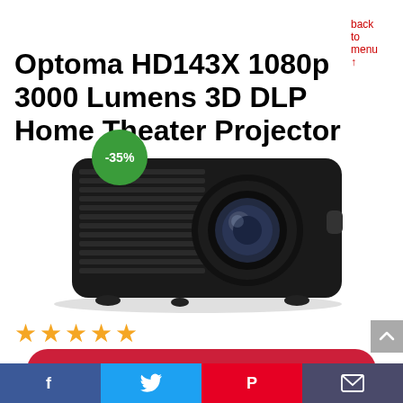back to menu ↑
Optoma HD143X 1080p 3000 Lumens 3D DLP Home Theater Projector
[Figure (photo): Optoma HD143X black DLP home theater projector on white background, with a green circular badge showing -35% discount overlay]
★★★★★
GO TO AMAZON
[Figure (infographic): Footer social share bar with Facebook, Twitter, Pinterest, and email icons]